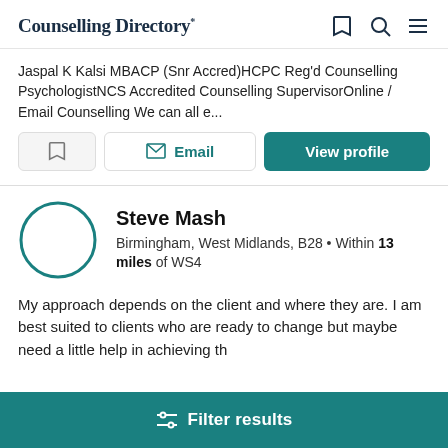Counselling Directory
Jaspal K Kalsi MBACP (Snr Accred)HCPC Reg'd Counselling PsychologistNCS Accredited Counselling SupervisorOnline / Email Counselling We can all e...
Steve Mash
Birmingham, West Midlands, B28 • Within 13 miles of WS4
My approach depends on the client and where they are. I am best suited to clients who are ready to change but maybe need a little help in achieving th
Filter results